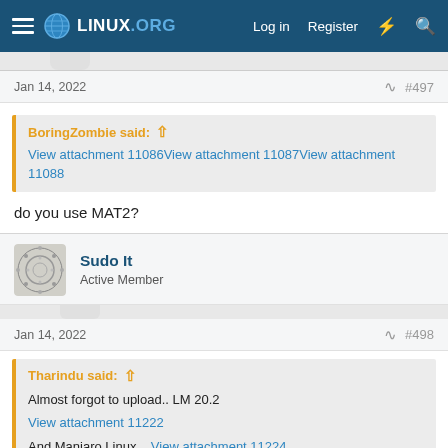Linux.org — Log in  Register
Jan 14, 2022    #497
BoringZombie said: ↑
View attachment 11086View attachment 11087View attachment 11088
do you use MAT2?
Sudo It
Active Member
Jan 14, 2022    #498
Tharindu said: ↑
Almost forgot to upload.. LM 20.2
View attachment 11222

And Manjaro Linux....View attachment 11224